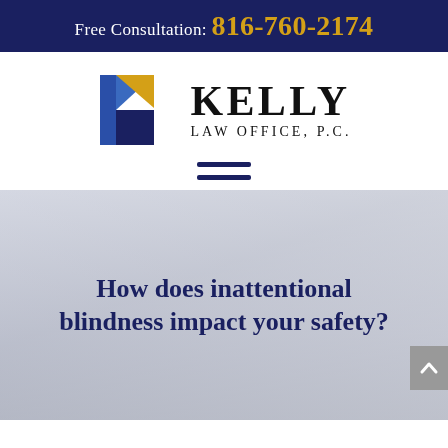Free Consultation: 816-760-2174
[Figure (logo): Kelly Law Office P.C. logo — geometric K shape in blue and gold on left, firm name KELLY LAW OFFICE, P.C. in bold serif on right]
[Figure (other): Hamburger menu icon — two horizontal navy blue lines]
How does inattentional blindness impact your safety?